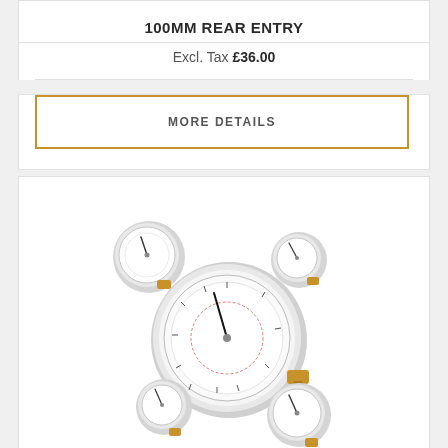100MM REAR ENTRY
Excl. Tax £36.00
MORE DETAILS
[Figure (photo): Multiple pressure gauges of various sizes arranged around a central large gauge with a chrome bezel and brass fittings, showing dial faces with measurement scales.]
63MM BOTTOM CONNECTION